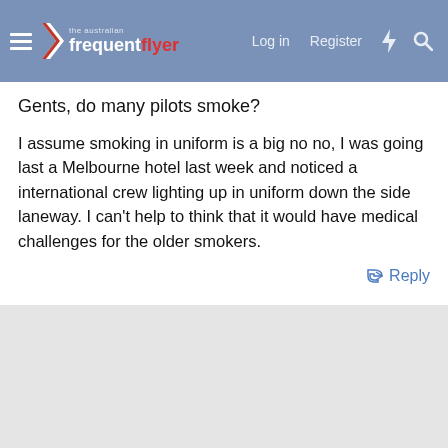the australian frequent flyer — Log in  Register
Gents, do many pilots smoke?
I assume smoking in uniform is a big no no, I was going last a Melbourne hotel last week and noticed a international crew lighting up in uniform down the side laneway. I can't help to think that it would have medical challenges for the older smokers.
Reply